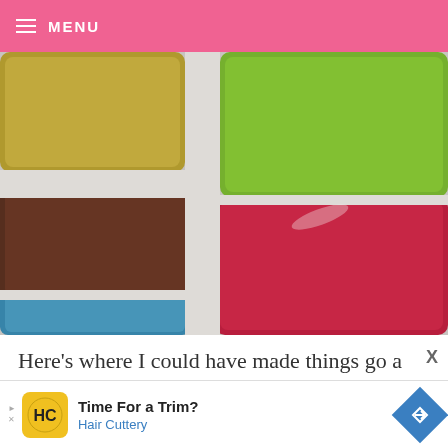MENU
[Figure (photo): Close-up photo of colorful frozen treats or purees in an ice cube tray, showing yellow-green, dark brown/purple, bright green, red/berry, and blue colors in separate compartments]
Here's where I could have made things go a little easier. I didn't have the recommended pan size to
[Figure (other): Advertisement banner for Hair Cuttery barbershop. Features HC logo on yellow background, text 'Time For a Trim?' and 'Hair Cuttery', with a blue diamond navigation icon on the right.]